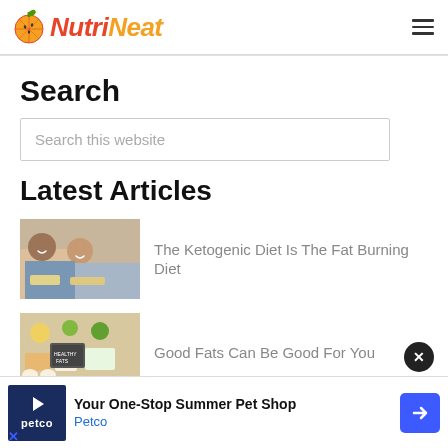NutriNeat
Search
Search this website
Latest Articles
The Ketogenic Diet Is The Fat Burning Diet
Good Fats Can Be Good For You
Your One-Stop Summer Pet Shop Petco